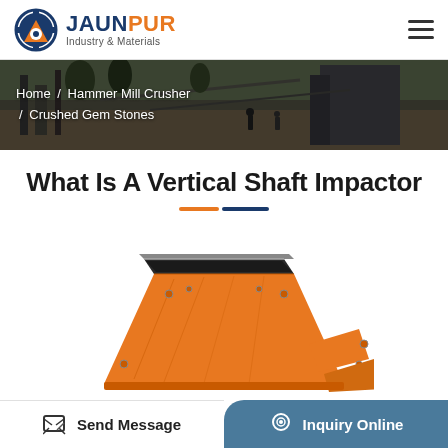JAUNPUR Industry & Materials
[Figure (photo): Industrial mining/crushing plant banner background with workers visible]
Home / Hammer Mill Crusher / Crushed Gem Stones
What Is A Vertical Shaft Impactor
[Figure (photo): Yellow vertical shaft impactor machine component on white background]
Send Message
Inquiry Online